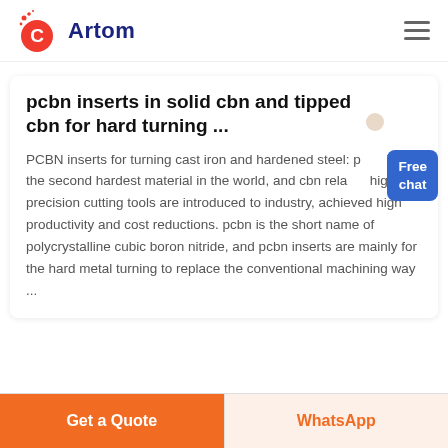Artom
pcbn inserts in solid cbn and tipped cbn for hard turning ...
PCBN inserts for turning cast iron and hardened steel: pcbn is the second hardest material in the world, and cbn related high precision cutting tools are introduced to industry, achieved high productivity and cost reductions. pcbn is the short name of polycrystalline cubic boron nitride, and pcbn inserts are mainly for the hard metal turning to replace the conventional machining way ...
Get a Quote
WhatsApp